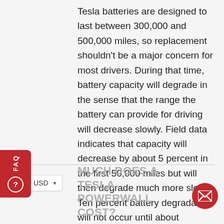Tesla batteries are designed to last between 300,000 and 500,000 miles, so replacement shouldn't be a major concern for most drivers. During that time, battery capacity will degrade in the sense that the range the battery can provide for driving will decrease slowly. Field data indicates that capacity will decrease by about 5 percent in the first 50,000 miles but will then degrade much more slowly. Ten percent battery degradation will not occur until about 200,000 miles of driving.
MUCH DOES A TESLA POWERWALL COST?